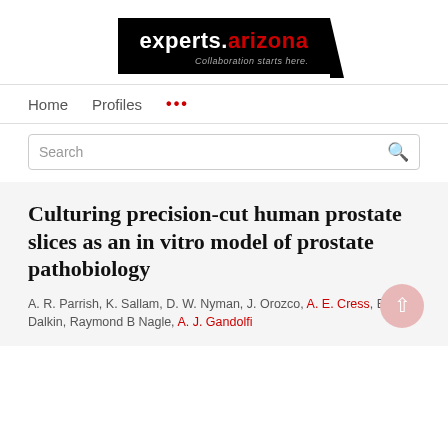[Figure (logo): experts.arizona logo — white text on black background with tagline 'Collaboration starts here.']
Home   Profiles   ...
Search
Culturing precision-cut human prostate slices as an in vitro model of prostate pathobiology
A. R. Parrish, K. Sallam, D. W. Nyman, J. Orozco, A. E. Cress, B. L. Dalkin, Raymond B Nagle, A. J. Gandolfi